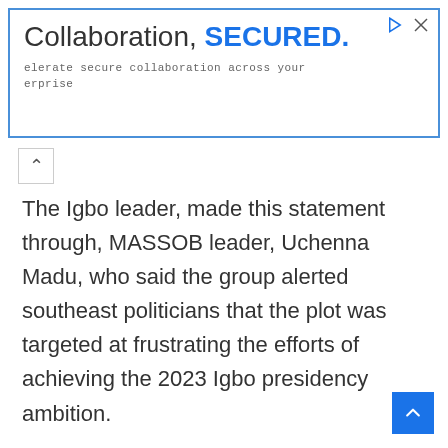[Figure (other): Advertisement banner with blue border. Title reads 'Collaboration, SECURED.' with 'SECURED.' in bold blue. Subtitle text: 'elerate secure collaboration across your erprise' in monospace. Small play and close icons in top-right corner.]
The Igbo leader, made this statement through, MASSOB leader, Uchenna Madu, who said the group alerted southeast politicians that the plot was targeted at frustrating the efforts of achieving the 2023 Igbo presidency ambition.